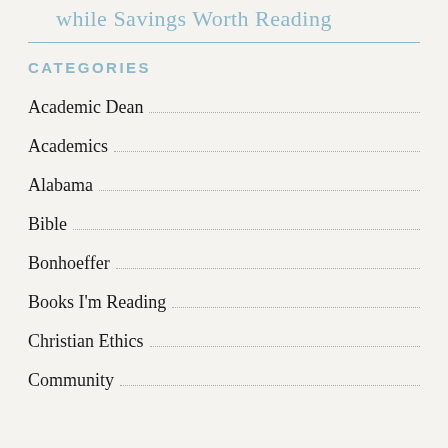while Savings Worth Reading
CATEGORIES
Academic Dean
Academics
Alabama
Bible
Bonhoeffer
Books I'm Reading
Christian Ethics
Community